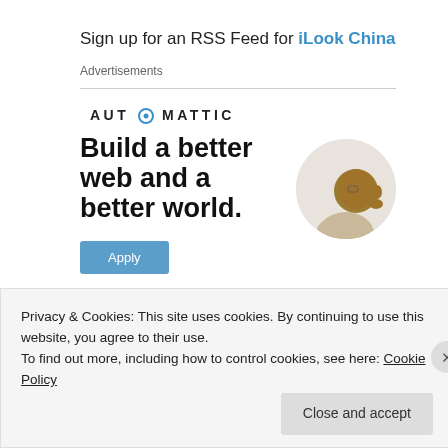Sign up for an RSS Feed for iLook China
Advertisements
[Figure (logo): Automattic logo with circular 'O' icon and spaced lettering: AUTOMATTIC]
[Figure (infographic): Automattic advertisement: 'Build a better web and a better world.' with an Apply button and a circular photo of a man thinking, on white background]
Privacy & Cookies: This site uses cookies. By continuing to use this website, you agree to their use.
To find out more, including how to control cookies, see here: Cookie Policy